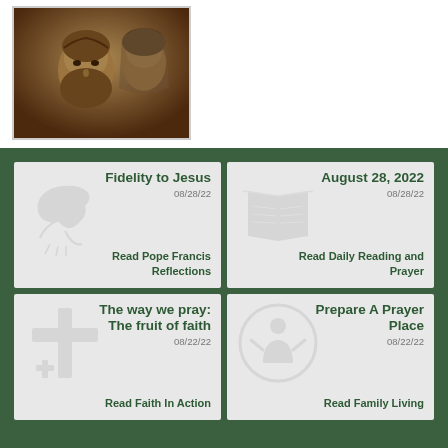[Figure (photo): Religious sculpture showing faces of Jesus and Mary in golden/sepia tones]
[Figure (infographic): Grid of four Catholic content cards on dark green background]
Fidelity to Jesus
08/28/22
Read Pope Francis Reflections
August 28, 2022
08/28/22
Read Daily Reading and Prayer
The way we pray: The fruit of faith
08/22/22
Read Faith In Action
Prepare A Prayer Place
08/22/22
Read Family Living